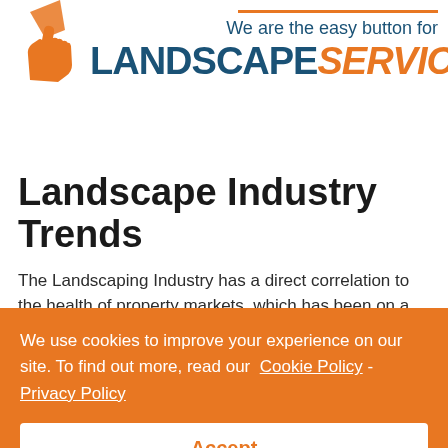[Figure (logo): Orange hand/pointer graphic logo for Landscape Services company]
We are the easy button for LANDSCAPE SERVICES
Landscape Industry Trends
The Landscaping Industry has a direct correlation to the health of property markets, which has been on a
We use cookies to improve your experience on our site. To find out more, read our Cookie Policy - Privacy Policy
Accept